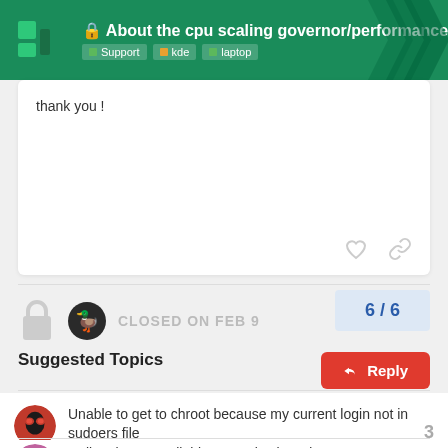About the cpu scaling governor/performance ... | Support | kde | laptop
thank you !
CLOSED ON FEB 9
6 / 6
Reply
Suggested Topics
Unable to get to chroot because my current login not in sudoers file
Support  14d  3
Dollar sign unavailable on my keyboard  9